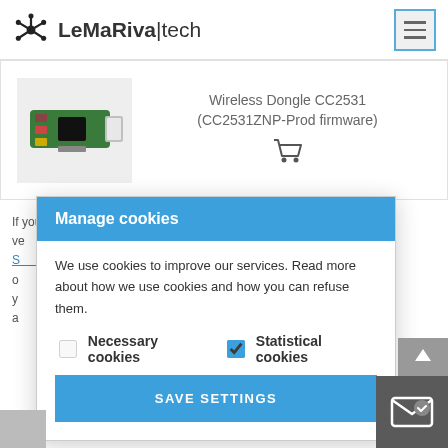LeMaRiva|tech
[Figure (photo): USB wireless dongle CC2531 circuit board product photo]
Wireless Dongle CC2531 (CC2531ZNP-Prod firmware)
If you need more information about the firmware, various link: Z-S... is out o... d. If y... cle a...
Manage cookies
We use cookies to improve our services. Read more about how we use cookies and how you can refuse them.
Necessary cookies   Statistical cookies
SAVE SETTINGS